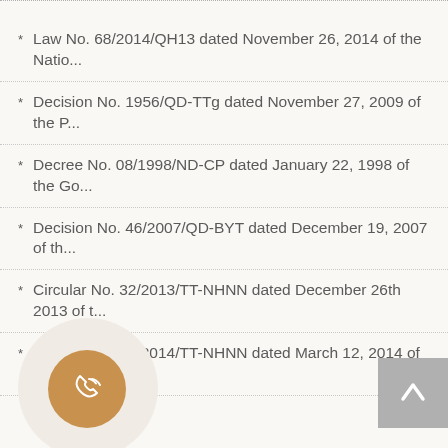Law No. 68/2014/QH13 dated November 26, 2014 of the Natio...
Decision No. 1956/QD-TTg dated November 27, 2009 of the P...
Decree No. 08/1998/ND-CP dated January 22, 1998 of the Go...
Decision No. 46/2007/QD-BYT dated December 19, 2007 of th...
Circular No. 32/2013/TT-NHNN dated December 26th 2013 of t...
Circular No. 05/2014/TT-NHNN dated March 12, 2014 of the St...